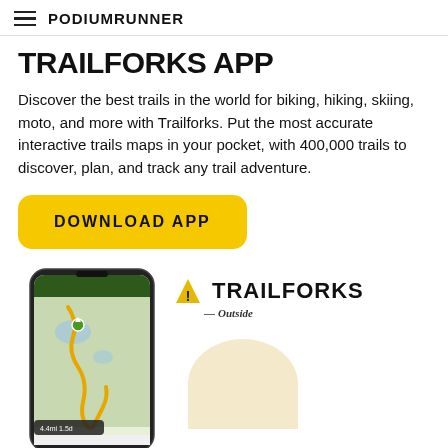PodiumRunner
TRAILFORKS APP
Discover the best trails in the world for biking, hiking, skiing, moto, and more with Trailforks. Put the most accurate interactive trails maps in your pocket, with 400,000 trails to discover, plan, and track any trail adventure.
DOWNLOAD APP
[Figure (screenshot): Smartphone showing the Trailforks app with a trail map displaying mountain bike routes]
[Figure (logo): Trailforks logo with yellow triangle warning icon and text 'TRAILFORKS from Outside']